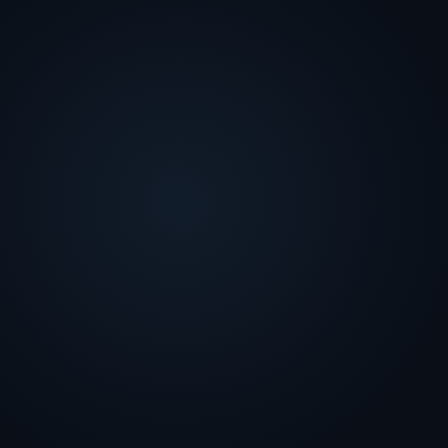[Figure (other): Solid dark navy/dark blue background page with no visible text or other content elements. The background has a very subtle, almost imperceptible variation in dark navy tones.]